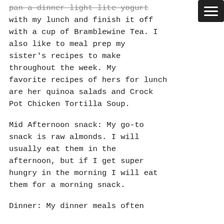pan a dinner light lite yogurt with my lunch and finish it off with a cup of Bramblewine Tea. I also like to meal prep my sister's recipes to make throughout the week. My favorite recipes of hers for lunch are her quinoa salads and Crock Pot Chicken Tortilla Soup.
Mid Afternoon snack: My go-to snack is raw almonds. I will usually eat them in the afternoon, but if I get super hungry in the morning I will eat them for a morning snack.
Dinner: My dinner meals often